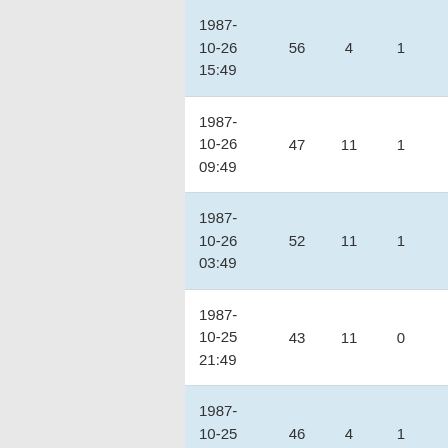| Date | Col2 | Col3 | Col4 | Col5 |
| --- | --- | --- | --- | --- |
| 1987-10-26 15:49 | 56 | 4 | 1 | 1 |
| 1987-10-26 09:49 | 47 | 11 | 1 | 1 |
| 1987-10-26 03:49 | 52 | 11 | 1 | 1 |
| 1987-10-25 21:49 | 43 | 11 | 0 | 0 |
| 1987-10-25 15:48 | 46 | 4 | 1 | 0 |
| 1987-10-24 21:49 | 47 | 4 | 0 | 0 |